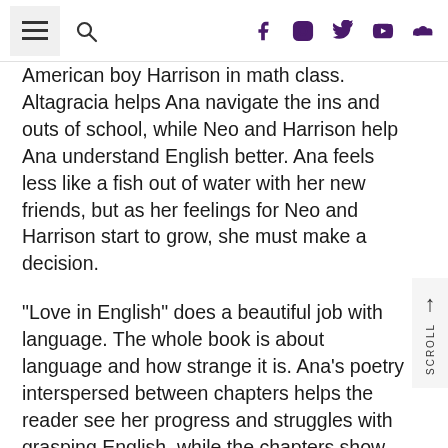[Navigation bar with hamburger menu, search icon, and social media icons: Facebook, Instagram, Twitter, YouTube, SoundCloud]
American boy Harrison in math class. Altagracia helps Ana navigate the ins and outs of school, while Neo and Harrison help Ana understand English better. Ana feels less like a fish out of water with her new friends, but as her feelings for Neo and Harrison start to grow, she must make a decision.
“Love in English” does a beautiful job with language. The whole book is about language and how strange it is. Ana’s poetry interspersed between chapters helps the reader see her progress and struggles with grasping English, while the chapters show us her mastery of the language as she steps more and more into her